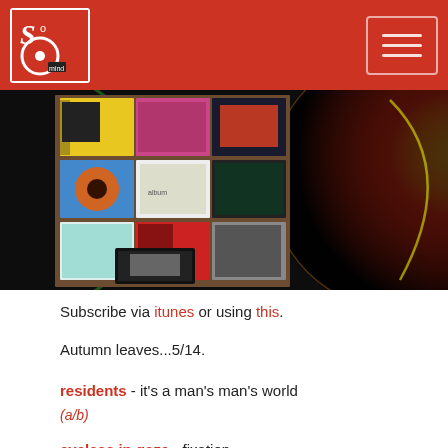Sound Mind — navigation header with logo and hamburger menu
[Figure (photo): Photo of vinyl record sleeves/albums displayed on a wooden shelf/board, overlapped with a dark vinyl record partially visible on right side, dark background]
Subscribe via itunes or using this.
Autumn leaves...5/14.
residents - it's a man's man's world (a/b)
eyeless in gaza - fixation (a/b)